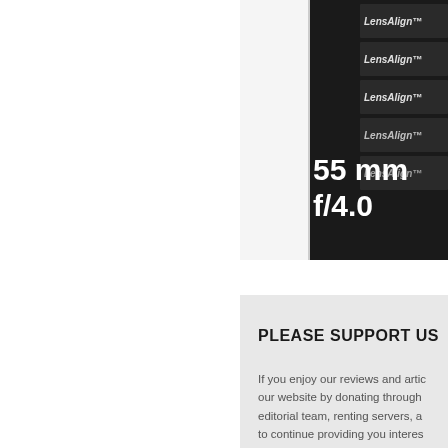[Figure (photo): Close-up photo of a camera lens alignment test chart (LensAlign) with text overlay showing '55 mm f/4.0' in white on dark background. Multiple 'LensAlign' branded targets visible on right side.]
PLEASE SUPPORT US
If you enjoy our reviews and artic our website by donating through editorial team, renting servers, a to continue providing you interes